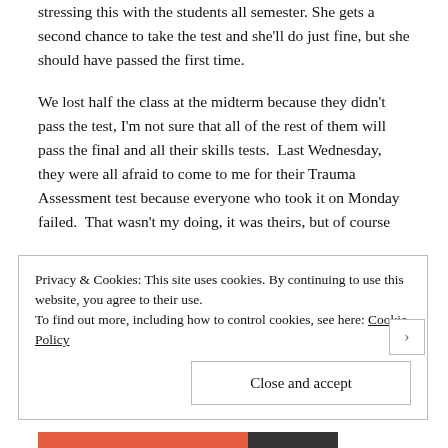stressing this with the students all semester. She gets a second chance to take the test and she'll do just fine, but she should have passed the first time.
We lost half the class at the midterm because they didn't pass the test, I'm not sure that all of the rest of them will pass the final and all their skills tests.  Last Wednesday, they were all afraid to come to me for their Trauma Assessment test because everyone who took it on Monday failed.  That wasn't my doing, it was theirs, but of course
Privacy & Cookies: This site uses cookies. By continuing to use this website, you agree to their use.
To find out more, including how to control cookies, see here: Cookie Policy
Close and accept